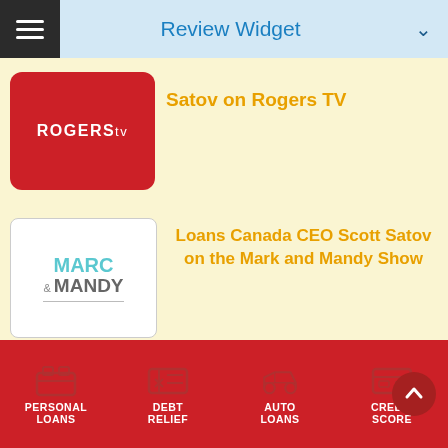Review Widget
[Figure (logo): Rogers TV logo - white text on red rounded rectangle background]
Satov on Rogers TV
[Figure (logo): Marc & Mandy Show logo - teal and grey text on white background]
Loans Canada CEO Scott Satov on the Mark and Mandy Show
VIEW ALL
LEARNING CENTER
HIDE
PERSONAL LOANS
DEBT RELIEF
AUTO LOANS
CREDIT SCORE